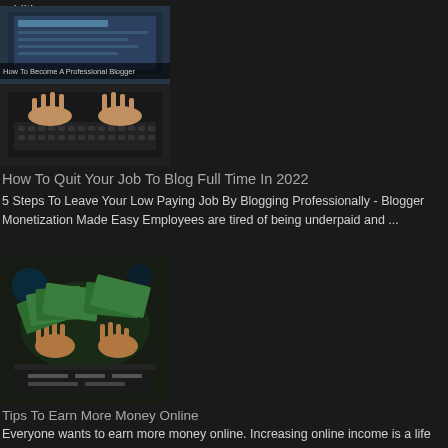additio...
[Figure (photo): Two stacked images: top showing a laptop screen with blogging content, bottom showing hands typing on a keyboard]
How To Quit Your Job To Blog Full Time In 2022
5 Steps To Leave Your Low Paying Job By Blogging Professionally - Blogger Monetization Made Easy Employees are tired of being underpaid and ...
[Figure (photo): Hands reaching toward scattered money/cash on a surface near a laptop]
Tips To Earn More Money Online
Everyone wants to earn more money online. Increasing online income is a life goal, especially when it can be done on your own time and terms...
[Figure (photo): A hand holding cash/money with digital background elements and what appears to be a financial display]
How To Win Big Money Bonuses
Want to win big money bonuses online? Interested in earning cash on the internet? Everyone could use more free income opportunities